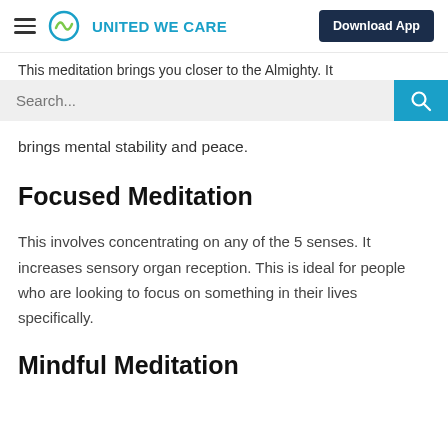United We Care — Download App
This meditation brings you closer to the Almighty. It
brings mental stability and peace.
Focused Meditation
This involves concentrating on any of the 5 senses. It increases sensory organ reception. This is ideal for people who are looking to focus on something in their lives specifically.
Mindful Meditation